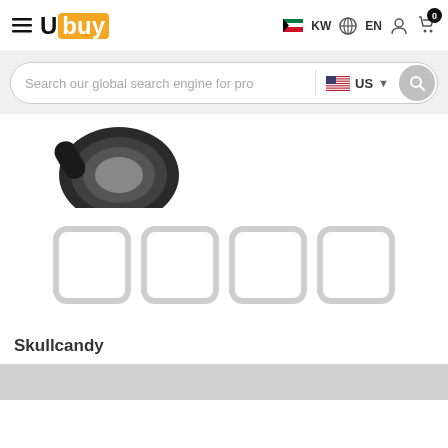Ubuy KW EN
Search our global search engine for pro US
[Figure (photo): Partial view of a black earbud/earphone product against white background]
[Figure (other): Four rounded square placeholder thumbnail boxes arranged horizontally]
Skullcandy